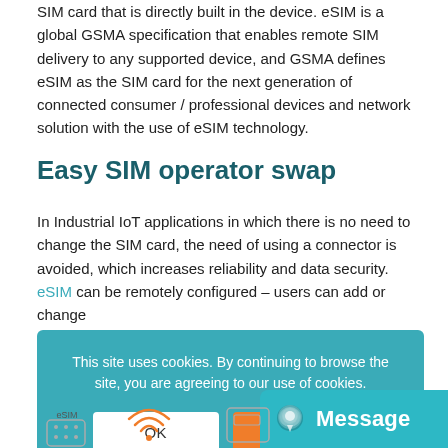SIM card that is directly built in the device. eSIM is a global GSMA specification that enables remote SIM delivery to any supported device, and GSMA defines eSIM as the SIM card for the next generation of connected consumer / professional devices and network solution with the use of eSIM technology.
Easy SIM operator swap
In Industrial IoT applications in which there is no need to change the SIM card, the need of using a connector is avoided, which increases reliability and data security. eSIM can be remotely configured – users can add or change
This site uses cookies. By continuing to browse the site, you are agreeing to our use of cookies.
Message